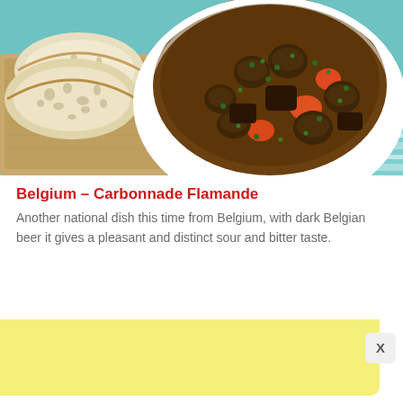[Figure (photo): A white bowl filled with Carbonnade Flamande - beef stew with mushrooms, carrots in dark brown gravy, garnished with chopped parsley. Sliced white/sourdough bread on a wooden cutting board to the left, on a blue striped cloth.]
Belgium – Carbonnade Flamande
Another national dish this time from Belgium, with dark Belgian beer it gives a pleasant and distinct sour and bitter taste.
[Figure (other): Yellow advertisement banner with an X close button in the bottom right corner]